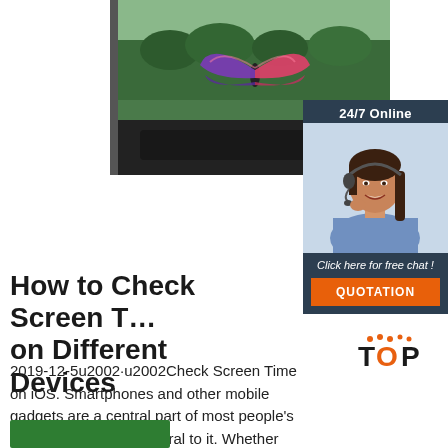[Figure (photo): A TV or monitor screen displaying a colorful butterfly (pink/purple/blue) floating in front of a green outdoor landscape scene]
[Figure (infographic): An advertisement panel with dark navy background showing '24/7 Online' text, a smiling female customer service agent wearing a headset, 'Click here for free chat!' italic text, and an orange QUOTATION button]
How to Check Screen Time on Different Devices
2019-12-5u2002·u2002Check Screen Time on iOS. Smartphones and other mobile gadgets are a central part of most people's daily routine, if not integral to it. Whether you're sending an …
[Figure (logo): TOP logo with orange dots above the letters]
[Figure (other): Green button at bottom left]